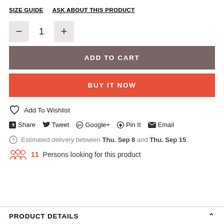SIZE GUIDE   ASK ABOUT THIS PRODUCT
— 1 +
ADD TO CART
BUY IT NOW
Add To Wishlist
Share  Tweet  Google+  Pin It  Email
Estimated delivery between Thu. Sep 8 and Thu. Sep 15.
11 Persons looking for this product
PRODUCT DETAILS